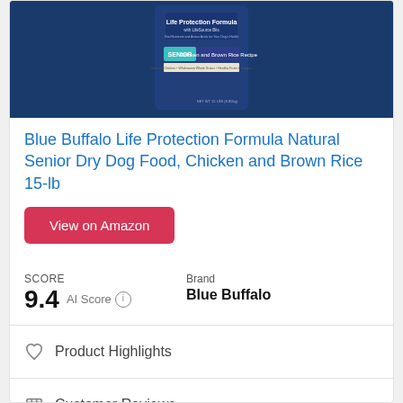[Figure (photo): Blue Buffalo Life Protection Formula Senior Chicken and Brown Rice Recipe dog food bag on a dark blue background]
Blue Buffalo Life Protection Formula Natural Senior Dry Dog Food, Chicken and Brown Rice 15-lb
View on Amazon
SCORE
9.4 AI Score
Brand
Blue Buffalo
Product Highlights
Customer Reviews